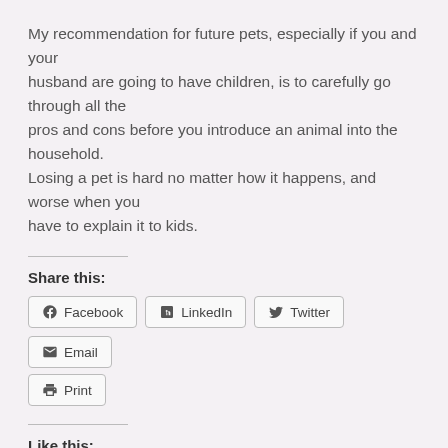My recommendation for future pets, especially if you and your husband are going to have children, is to carefully go through all the pros and cons before you introduce an animal into the household. Losing a pet is hard no matter how it happens, and worse when you have to explain it to kids.
Share this:
Facebook  LinkedIn  Twitter  Email  Print
Like this:
Loading...